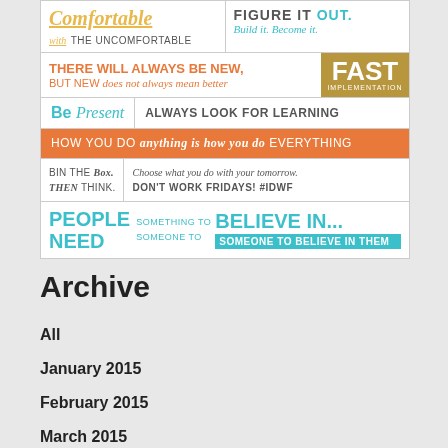[Figure (infographic): Motivational infographic with multiple text blocks: 'Comfortable with the uncomfortable', 'FIGURE IT OUT. Build it. Become it.', 'THERE WILL ALWAYS BE NEW, BUT NEW does not always mean better', 'FAST IMPLEMENTATION', 'Be Present ALWAYS LOOK FOR LEARNING', 'HOW YOU DO anything is how you do EVERYTHING', 'BIN THE Box. Then THINK.', 'Choose what you do with your tomorrow. DON’T WORK FRIDAYS! #IDWF', 'PEOPLE NEED SOMETHING TO SOMEONE TO BELIEVE IN... SOMEONE TO BELIEVE IN THEM']
Archive
All
January 2015
February 2015
March 2015
April 2015